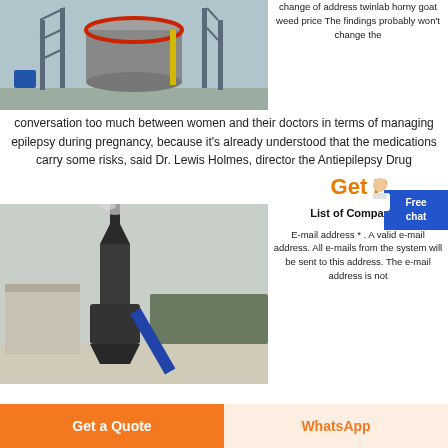[Figure (photo): Industrial machine in a factory setting, large cylindrical metallic equipment with scaffolding, blue and grey tones]
change of address twinlab horny goat weed price The findings probably won't change the conversation too much between women and their doctors in terms of managing epilepsy during pregnancy, because it's already understood that the medications carry some risks, said Dr. Lewis Holmes, director the Antiepilepsy Drug
Get P
[Figure (photo): Industrial mill or grinding machine outdoors, dark metallic equipment with cyclone separator and conveyor, overcast sky background]
List of Companies
E-mail address * . A valid e-mail address. All e-mails from the system will be sent to this address. The e-mail address is not
Get a Quote    WhatsApp